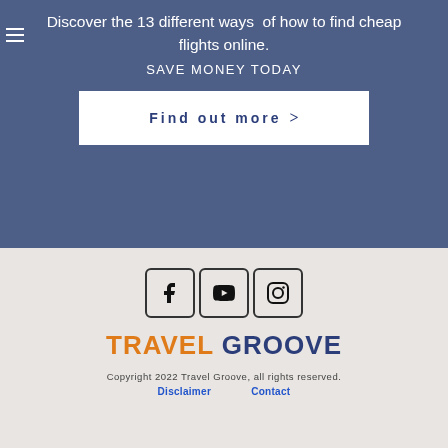Discover the 13 different ways  of how to find cheap flights online.
SAVE MONEY TODAY
Find out more  >
[Figure (other): Social media icons: Facebook, YouTube, Instagram in rounded square borders]
[Figure (logo): Travel Groove logo with TRAVEL in orange and GROOVE in dark blue]
Copyright 2022 Travel Groove, all rights reserved.
Disclaimer    Contact